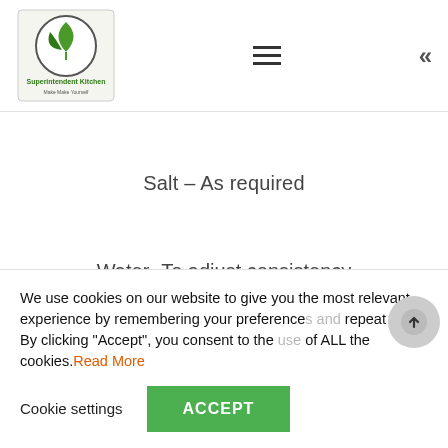Superintendent Kitchen — navigation header with logo, hamburger menu, and chevron
Salt – As required
Water- To adjust consistency
[Figure (photo): Close-up photo of a red background with a white plate containing green garnish and orange food item, partially visible]
We use cookies on our website to give you the most relevant experience by remembering your preferences and repeat visits. By clicking "Accept", you consent to the use of ALL the cookies. Read More
Cookie settings | ACCEPT